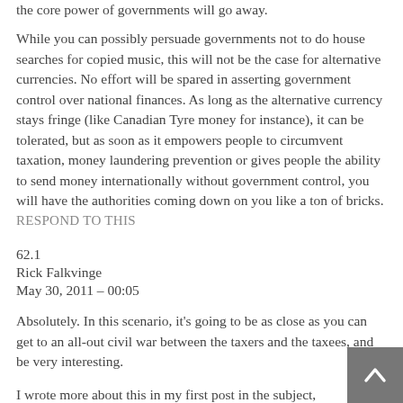the core power of governments will go away.
While you can possibly persuade governments not to do house searches for copied music, this will not be the case for alternative currencies. No effort will be spared in asserting government control over national finances. As long as the alternative currency stays fringe (like Canadian Tyre money for instance), it can be tolerated, but as soon as it empowers people to circumvent taxation, money laundering prevention or gives people the ability to send money internationally without government control, you will have the authorities coming down on you like a ton of bricks.
RESPOND TO THIS
62.1
Rick Falkvinge
May 30, 2011 – 00:05
Absolutely. In this scenario, it's going to be as close as you can get to an all-out civil war between the taxers and the taxees, and be very interesting.
I wrote more about this in my first post in the subject,